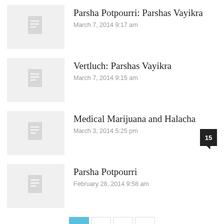Parsha Potpourri: Parshas Vayikra
March 7, 2014 9:17 am
Vertluch: Parshas Vayikra
March 7, 2014 9:15 am
Medical Marijuana and Halacha
March 3, 2014 5:25 pm
Parsha Potpourri
February 28, 2014 9:58 am
1 2 3 >